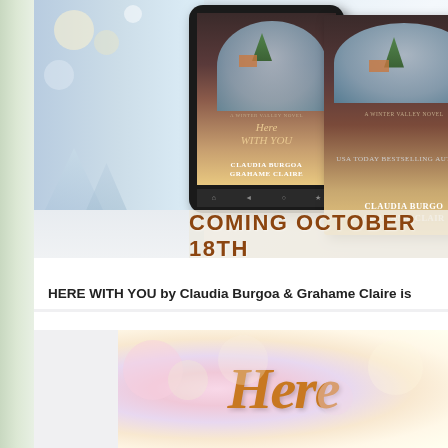[Figure (photo): Promotional book cover image showing a tablet displaying 'HERE WITH YOU, A Winter Valley Novel' by Claudia Burgoa & Grahame Claire, alongside a physical book copy with same cover. Text reads 'COMING OCTOBER 18TH' in brown/gold lettering on a snowy bokeh background.]
HERE WITH YOU by Claudia Burgoa & Grahame Claire is
[Figure (photo): Partial book cover image showing script/cursive text 'Here' in gold/orange on a soft pastel bokeh background.]